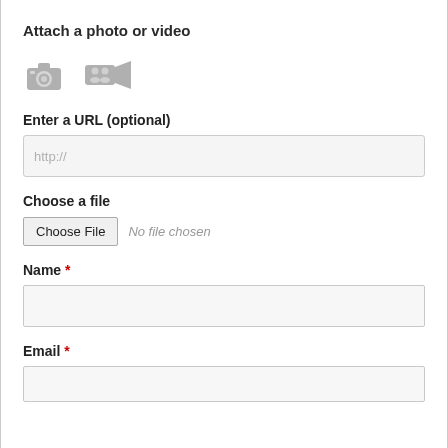Attach a photo or video
[Figure (illustration): Camera icon and video camera icon in gray]
Enter a URL (optional)
http://
Choose a file
Choose File   No file chosen
Name *
Email *